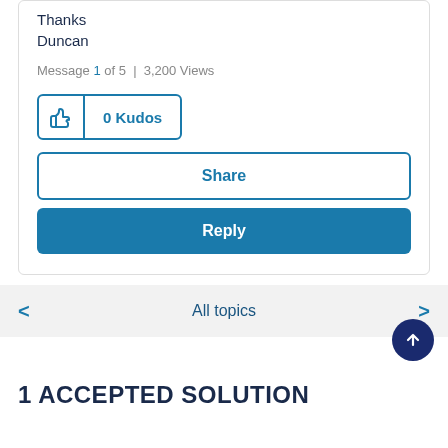Thanks
Duncan
Message 1 of 5  |  3,200 Views
0 Kudos
Share
Reply
< All topics >
1 ACCEPTED SOLUTION